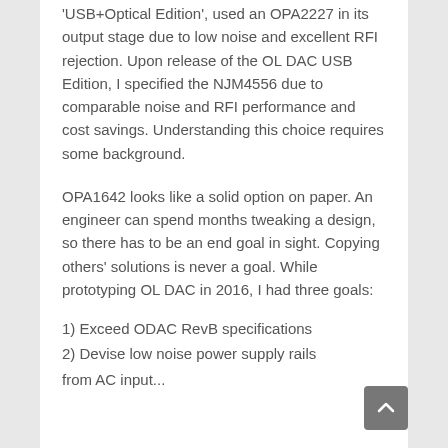'USB+Optical Edition', used an OPA2227 in its output stage due to low noise and excellent RFI rejection. Upon release of the OL DAC USB Edition, I specified the NJM4556 due to comparable noise and RFI performance and cost savings. Understanding this choice requires some background.
OPA1642 looks like a solid option on paper. An engineer can spend months tweaking a design, so there has to be an end goal in sight. Copying others' solutions is never a goal. While prototyping OL DAC in 2016, I had three goals:
1) Exceed ODAC RevB specifications
2) Devise low noise power supply rails from AC input...